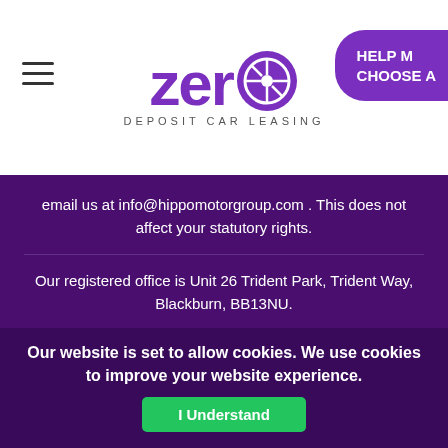[Figure (logo): Zero Deposit Car Leasing logo with a stylized wheel replacing the 'o', purple text, with hamburger menu icon on left and partially visible purple 'HELP ME / CHOOSE A' button on right]
email us at info@hippomotorgroup.com . This does not affect your statutory rights.
Our registered office is Unit 26 Trident Park, Trident Way, Blackburn, BB13NU.
Representative Example Of Credit
Loan Amount £7,500 | Total Cost of Credit £3048.96 | Representative APR 19.1% APR | Rate of Fixed Interest 10.4% | 48 Monthly Payments £219.77 | Deposit Amount £0 | Loan Term 48 Months | Total Amount Payable £10,548.96.
Our website is set to allow cookies. We use cookies to improve your website experience.
I Understand